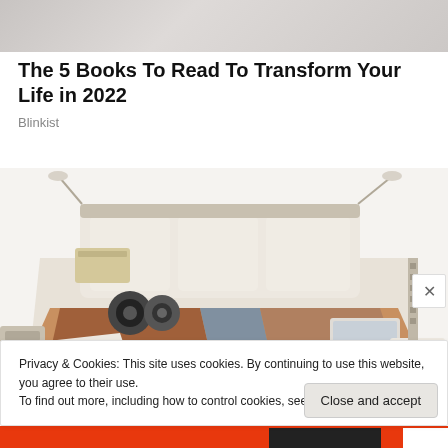[Figure (photo): Top portion of a photo showing a person in white, cropped at the bottom]
The 5 Books To Read To Transform Your Life in 2022
Blinkist
[Figure (photo): Photo of a high-tech smart bed with speakers, reading lights, storage drawers, a massage chair, and a laptop tray]
Privacy & Cookies: This site uses cookies. By continuing to use this website, you agree to their use.
To find out more, including how to control cookies, see here: Cookie Policy
Close and accept